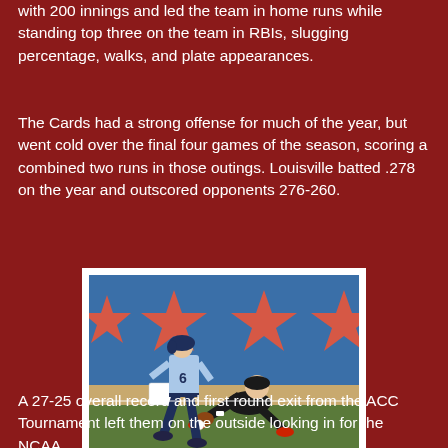with 200 innings and led the team in home runs while standing top three on the team in RBIs, slugging percentage, walks, and plate appearances.
The Cards had a strong offense for much of the year, but went cold over the final four games of the season, scoring a combined two runs in those outings. Louisville batted .278 on the year and outscored opponents 276-260.
[Figure (photo): Softball action photo showing a Louisville player in black uniform fielding/diving at a base, with an opposing player in blue pinstripe uniform (number 6) nearby. Background shows blue wall with red Chicago-style six-pointed stars.]
A 27-25 overall record and first round exit from the ACC Tournament left them on the outside looking in for the NCAA